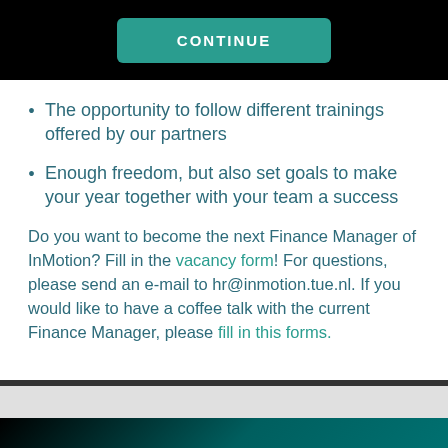[Figure (screenshot): Teal CONTINUE button on black bar at top of page]
The opportunity to follow different trainings offered by our partners
Enough freedom, but also set goals to make your year together with your team a success
Do you want to become the next Finance Manager of InMotion? Fill in the vacancy form! For questions, please send an e-mail to hr@inmotion.tue.nl. If you would like to have a coffee talk with the current Finance Manager, please fill in this forms.